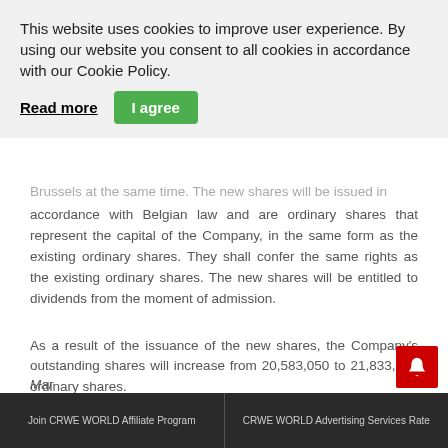This website uses cookies to improve user experience. By using our website you consent to all cookies in accordance with our Cookie Policy.
Read more | I agree
Brussels at the same time. The new shares will be issued in accordance with Belgian law and are ordinary shares that represent the capital of the Company, in the same form as the existing ordinary shares. They shall confer the same rights as the existing ordinary shares. The new shares will be entitled to dividends from the moment of admission.
As a result of the issuance of the new shares, the Company's outstanding shares will increase from 20,583,050 to 21,833,050 ordinary shares.
CONTACT DETAILS FOR INVESTORS AND MEDIA ENQUIRIES
Mar
Join CRWE WORLD Affiliate Program | CRWE WORLD Advertising Services Rate